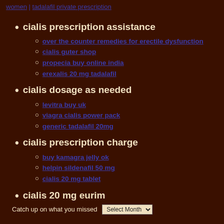women | tadalafil private prescription
cialis prescription assistance
over the counter remedies for erectile dysfunction
cialis guter shop
propecia buy online india
erexalis 20 mg tadalafil
cialis dosage as needed
levitra buy uk
viagra cialis power pack
generic tadalafil 20mg
cialis prescription charge
buy kamagra jelly ok
helpin sildenafil 50 mg
cialis 20 mg tablet
cialis 20 mg eurim
Catch up on what you missed   Select Month